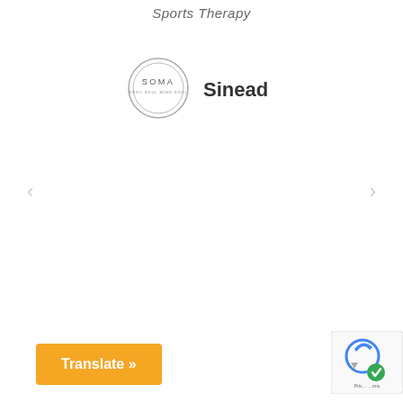Sports Therapy
[Figure (logo): SOMA circular logo with text around the border]
Sinead
‹
›
Translate »
[Figure (screenshot): Google reCAPTCHA badge in bottom right corner]